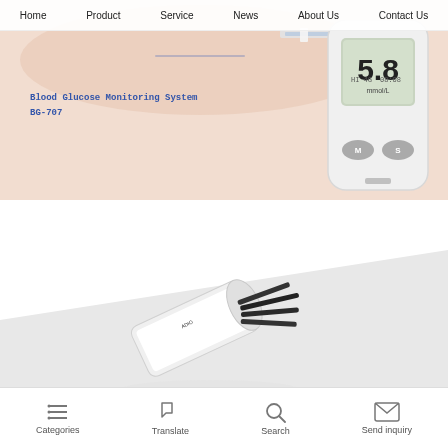Home  Product  Service  News  About Us  Contact Us
[Figure (photo): Blood Glucose Monitoring System BG-707 product photo showing a glucose meter with digital display reading 5.8 mmol/L, with test strips and a hand in the background on a peach/beige background]
Blood Glucose Monitoring System
BG-707
[Figure (photo): A bottle of blood glucose test strips tipped on its side with multiple test strips spilling out, shown on a light gray diagonal background]
Categories  Translate  Search  Send inquiry